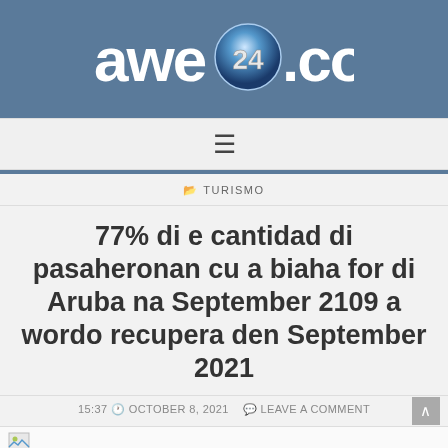[Figure (logo): awe24.com website logo — white text 'awe' and '.com' with a blue globe showing '24' in silver/chrome 3D text]
☰
📂 TURISMO
77% di e cantidad di pasaheronan cu a biaha for di Aruba na September 2109 a wordo recupera den September 2021
15:37 🕐 OCTOBER 8, 2021   💬 LEAVE A COMMENT